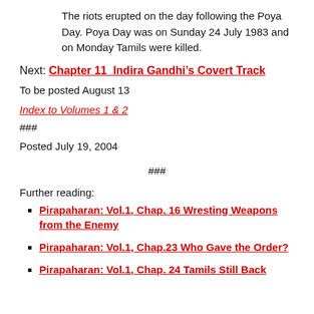The riots erupted on the day following the Poya Day. Poya Day was on Sunday 24 July 1983 and on Monday Tamils were killed.
Next: Chapter 11  Indira Gandhi’s Covert Track
To be posted August 13
Index to Volumes 1 & 2
###
Posted July 19, 2004
###
Further reading:
Pirapaharan: Vol.1, Chap. 16 Wresting Weapons from the Enemy
Pirapaharan: Vol.1, Chap.23 Who Gave the Order?
Pirapaharan: Vol.1, Chap. 24 Tamils Still Back